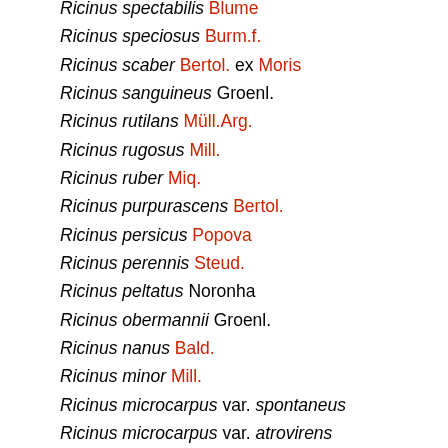Ricinus spectabilis Blume
Ricinus speciosus Burm.f.
Ricinus scaber Bertol. ex Moris
Ricinus sanguineus Groenl.
Ricinus rutilans Müll.Arg.
Ricinus rugosus Mill.
Ricinus ruber Miq.
Ricinus purpurascens Bertol.
Ricinus persicus Popova
Ricinus perennis Steud.
Ricinus peltatus Noronha
Ricinus obermannii Groenl.
Ricinus nanus Bald.
Ricinus minor Mill.
Ricinus microcarpus var. spontaneus
Ricinus microcarpus var. atrovirens
Ricinus microcarpus Popova
Ricinus metallicus Pax & K.Hoffm.
Ricinus messeniacus Heldr.
Ricinus megalocarmus Dalile